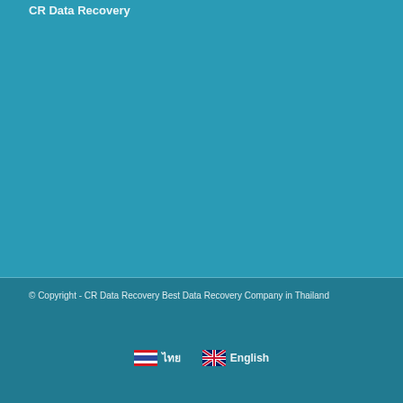CR Data Recovery
© Copyright - CR Data Recovery Best Data Recovery Company in Thailand
[Figure (illustration): Thai flag icon followed by Thai text]
[Figure (illustration): UK flag icon followed by English text]